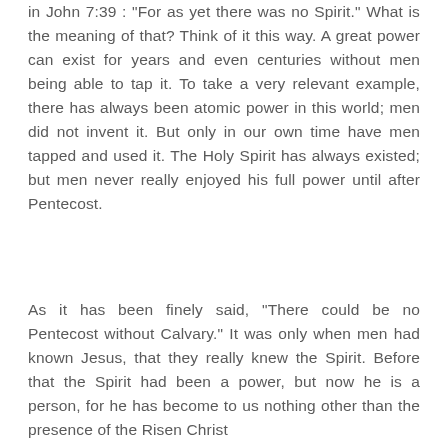in John 7:39 : "For as yet there was no Spirit." What is the meaning of that? Think of it this way. A great power can exist for years and even centuries without men being able to tap it. To take a very relevant example, there has always been atomic power in this world; men did not invent it. But only in our own time have men tapped and used it. The Holy Spirit has always existed; but men never really enjoyed his full power until after Pentecost.
As it has been finely said, "There could be no Pentecost without Calvary." It was only when men had known Jesus, that they really knew the Spirit. Before that the Spirit had been a power, but now he is a person, for he has become to us nothing other than the presence of the Risen Christ